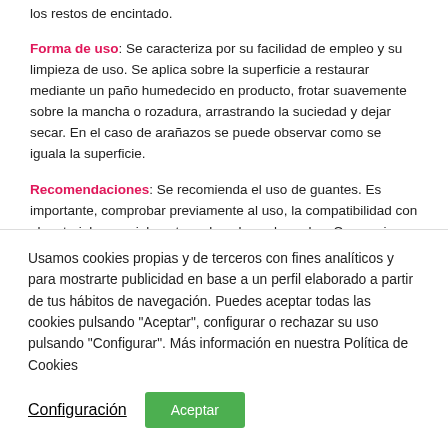los restos de encintado.
Forma de uso: Se caracteriza por su facilidad de empleo y su limpieza de uso. Se aplica sobre la superficie a restaurar mediante un paño humedecido en producto, frotar suavemente sobre la mancha o rozadura, arrastrando la suciedad y dejar secar. En el caso de arañazos se puede observar como se iguala la superficie.
Recomendaciones: Se recomienda el uso de guantes. Es importante, comprobar previamente al uso, la compatibilidad con el material, especialmente en lacados coloreados. Consumir preferentemente antes de 3 años desde la fecha de envasado.
Usamos cookies propias y de terceros con fines analíticos y para mostrarte publicidad en base a un perfil elaborado a partir de tus hábitos de navegación. Puedes aceptar todas las cookies pulsando "Aceptar", configurar o rechazar su uso pulsando "Configurar". Más información en nuestra Política de Cookies